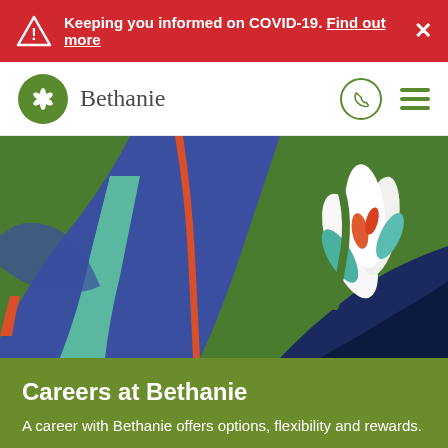Keeping you informed on COVID-19. Find out more ×
[Figure (logo): Bethanie logo: green circle with white flower/plant icon, followed by 'Bethanie' brand name in serif font. Navigation bar with phone icon and hamburger menu.]
[Figure (illustration): Colorful abstract botanical illustration with large blue, green, teal, and dark navy leaf/plant shapes, an orange stem, and white bird-of-paradise flower on the right side.]
Careers at Bethanie
A career with Bethanie offers options, flexibility and rewards.